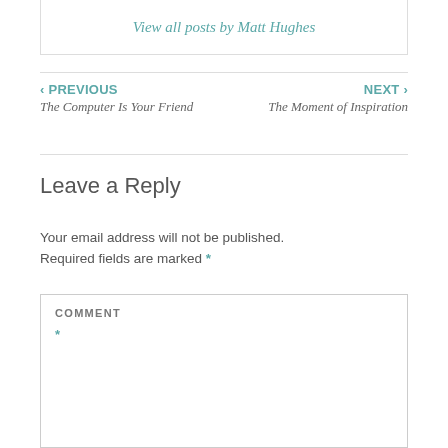View all posts by Matt Hughes
‹ PREVIOUS
The Computer Is Your Friend
NEXT ›
The Moment of Inspiration
Leave a Reply
Your email address will not be published. Required fields are marked *
COMMENT *